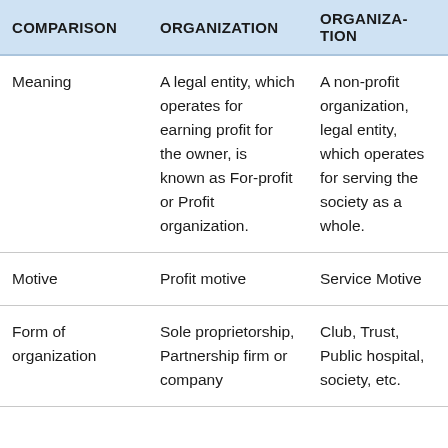| COMPARISON | ORGANIZATION | ORGANIZATION |
| --- | --- | --- |
| Meaning | A legal entity, which operates for earning profit for the owner, is known as For-profit or Profit organization. | A non-profit organization, legal entity, which operates for serving the society as a whole. |
| Motive | Profit motive | Service Motive |
| Form of organization | Sole proprietorship, Partnership firm or company | Club, Trust, Public hospital, society, etc. |